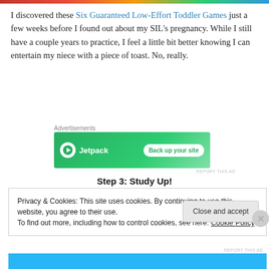[Figure (photo): Thin top image strip, colorful gradient]
I discovered these Six Guaranteed Low-Effort Toddler Games just a few weeks before I found out about my SIL's pregnancy. While I still have a couple years to practice, I feel a little bit better knowing I can entertain my niece with a piece of toast. No, really.
Advertisements
[Figure (screenshot): Jetpack advertisement banner - Back up your site]
REPORT THIS AD
Step 3: Study Up!
Privacy & Cookies: This site uses cookies. By continuing to use this website, you agree to their use.
To find out more, including how to control cookies, see here: Cookie Policy
Close and accept
[Figure (screenshot): Bottom blue ad strip]